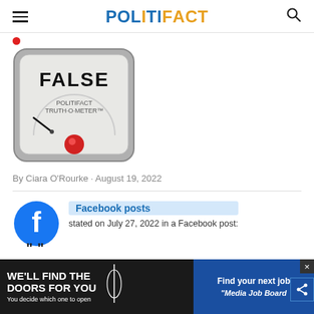POLITIFACT
[Figure (illustration): PolitiFact Truth-O-Meter gauge showing FALSE rating with red indicator light]
By Ciara O'Rourke · August 19, 2022
[Figure (logo): Facebook logo icon (blue circle with white f)]
Facebook posts stated on July 27, 2022 in a Facebook post:
"96% of U.S. climate data is co...